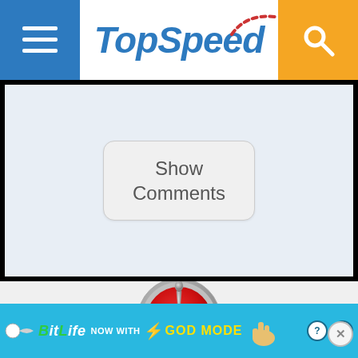[Figure (screenshot): TopSpeed website header with hamburger menu button (blue), TopSpeed logo in blue italic with red arc decoration, and orange search button]
[Figure (screenshot): Comments section with dark border and light blue background, containing a 'Show Comments' rounded button]
[Figure (logo): Yamaha logo - red and silver circular emblem with tuning fork symbol]
[Figure (screenshot): BitLife advertisement banner - blue background with BitLife logo, 'NOW WITH GOD MODE' text in yellow, hand graphic, help and close buttons]